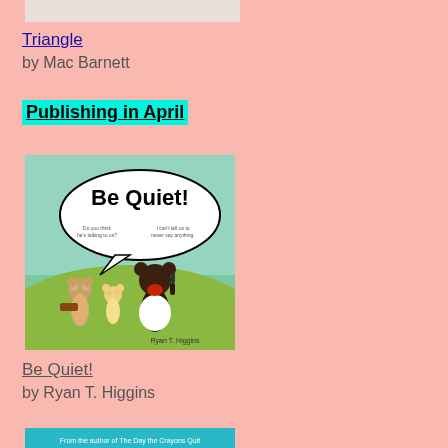[Figure (illustration): Partial view of a book cover at the top of the page (cropped)]
Triangle
by Mac Barnett
Publishing in April
[Figure (illustration): Book cover of 'Be Quiet!' by Ryan T. Higgins showing cartoon mice characters with a speech bubble saying 'Be Quiet!']
Be Quiet!
by Ryan T. Higgins
[Figure (illustration): Partial book cover of 'The Legend of...' by Drew Daywalt at the bottom of the page (cropped)]